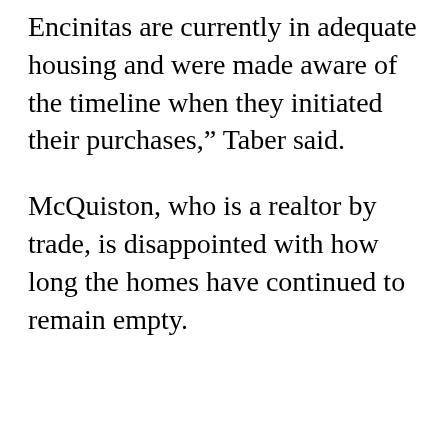Encinitas are currently in adequate housing and were made aware of the timeline when they initiated their purchases,” Taber said.
McQuiston, who is a realtor by trade, is disappointed with how long the homes have continued to remain empty.